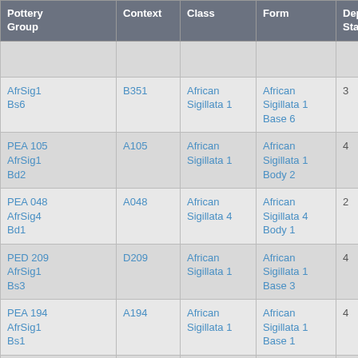| Pottery Group | Context | Class | Form | Depos Status | R Ct | R EVR |
| --- | --- | --- | --- | --- | --- | --- |
| [partial] | [partial] | [partial] | [partial] |  |  |  |
| AfrSig1 Bs6 | B351 | African Sigillata 1 | African Sigillata 1 Base 6 | 3 |  |  |
| PEA 105 AfrSig1 Bd2 | A105 | African Sigillata 1 | African Sigillata 1 Body 2 | 4 |  |  |
| PEA 048 AfrSig4 Bd1 | A048 | African Sigillata 4 | African Sigillata 4 Body 1 | 2 |  |  |
| PED 209 AfrSig1 Bs3 | D209 | African Sigillata 1 | African Sigillata 1 Base 3 | 4 |  |  |
| PEA 194 AfrSig1 Bs1 | A194 | African Sigillata 1 | African Sigillata 1 Base 1 | 4 |  |  |
| PEA 067 AfrSig1 Bd1 | A067 | African Sigillata 1 | African Sigillata 1 Body 1 | 4 |  |  |
| PEB 351 [partial] | [partial] | African [partial] | African [partial] |  |  |  |